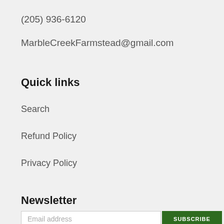(205) 936-6120
MarbleCreekFarmstead@gmail.com
Quick links
Search
Refund Policy
Privacy Policy
Newsletter
Email address
SUBSCRIBE